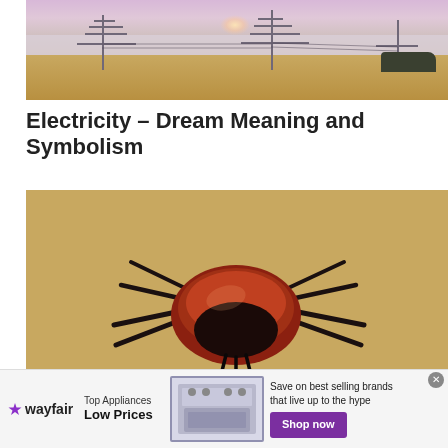[Figure (photo): Landscape photo with electrical transmission towers in a field with fog and pink/purple sunset sky]
Electricity – Dream Meaning and Symbolism
[Figure (photo): Close-up macro photo of a tick (arachnid) on a sandy/tan surface]
[Figure (other): Wayfair advertisement banner: Top Appliances Low Prices, Save on best selling brands that live up to the hype, Shop now button, image of a kitchen range]